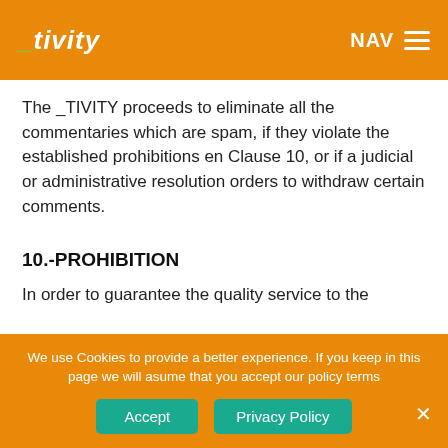_tivity NAV
The _TIVITY proceeds to eliminate all the commentaries which are spam, if they violate the established prohibitions en Clause 10, or if a judicial or administrative resolution orders to withdraw certain comments.
10.-PROHIBITION
In order to guarantee the quality service to the
We use Cookies to provide a better experience. If you keep in this page we will asume that you accept our policy terms